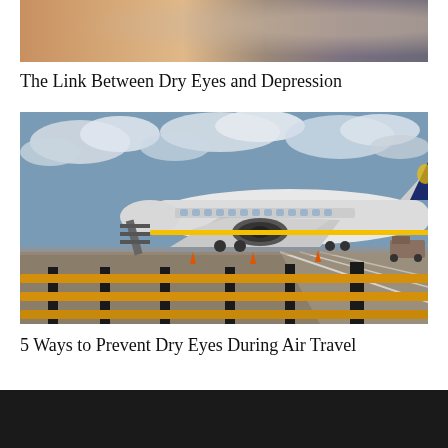[Figure (photo): Close-up photo of a human eye, showing skin tones and eye detail]
The Link Between Dry Eyes and Depression
[Figure (photo): Ryanair airplane parked on tarmac at an airport, viewed from behind yellow and black fence railings, cloudy sky]
5 Ways to Prevent Dry Eyes During Air Travel
[Figure (photo): Dark footer bar, partially visible, likely containing navigation or branding]